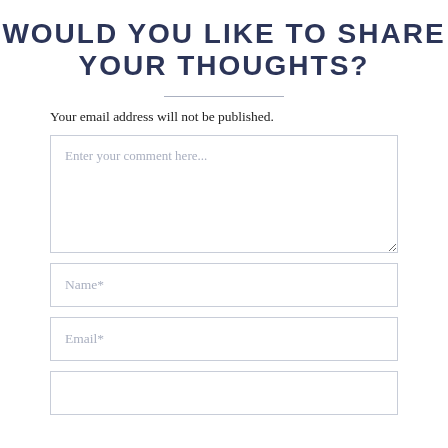WOULD YOU LIKE TO SHARE YOUR THOUGHTS?
Your email address will not be published.
[Figure (other): Comment form with textarea placeholder 'Enter your comment here...', Name* input field, Email* input field, and a partially visible fourth input field at the bottom.]